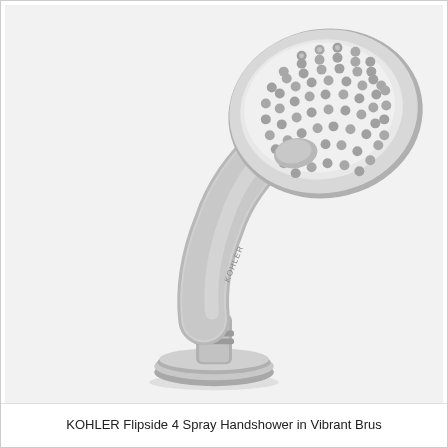[Figure (photo): Product photo of a KOHLER Flipside 4-Spray Handshower in Vibrant Brushed Nickel finish. The handshower is shown at an angle with a large oval spray face featuring multiple spray nozzles arranged in a pattern, connected to a curved handle, and mounted on a circular base. The finish is a brushed nickel/silver-gray color.]
KOHLER Flipside 4 Spray Handshower in Vibrant Brus